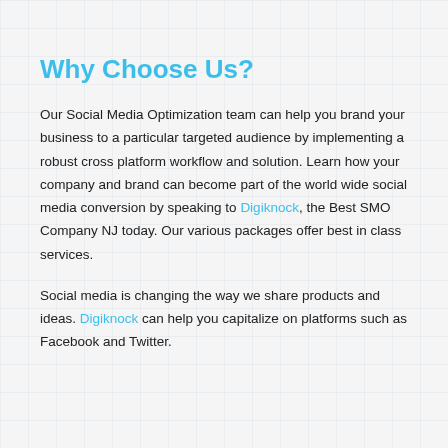Why Choose Us?
Our Social Media Optimization team can help you brand your business to a particular targeted audience by implementing a robust cross platform workflow and solution. Learn how your company and brand can become part of the world wide social media conversion by speaking to Digiknock, the Best SMO Company NJ today. Our various packages offer best in class services.
Social media is changing the way we share products and ideas. Digiknock can help you capitalize on platforms such as Facebook and Twitter.